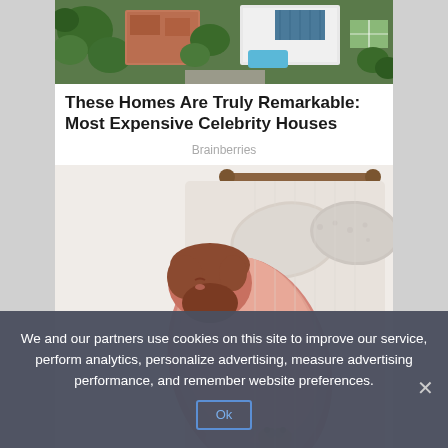[Figure (photo): Aerial view of celebrity homes, showing rooftops, trees, pool and tennis court from above]
These Homes Are Truly Remarkable: Most Expensive Celebrity Houses
Brainberries
[Figure (illustration): Illustration of a large bearded man sleeping curled up in a bed with striped pajama pants, holding a small stuffed animal, viewed from above]
We and our partners use cookies on this site to improve our service, perform analytics, personalize advertising, measure advertising performance, and remember website preferences.